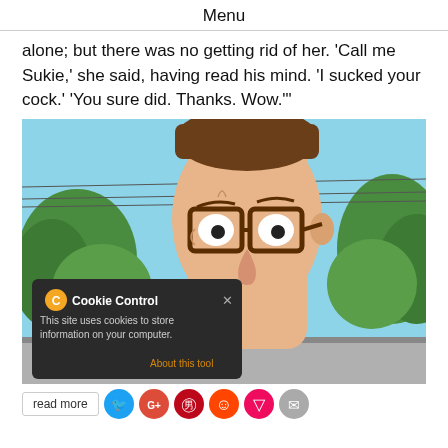Menu
alone; but there was no getting rid of her. 'Call me Sukie,' she said, having read his mind. 'I sucked your cock.' 'You sure did. Thanks. Wow.'"
[Figure (screenshot): Screenshot of an animated cartoon character (Hank Hill from King of the Hill) with a Cookie Control popup overlay reading 'This site uses cookies to store information on your computer. About this tool']
read more